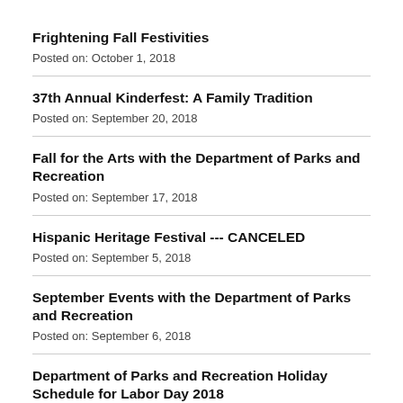Frightening Fall Festivities
Posted on: October 1, 2018
37th Annual Kinderfest: A Family Tradition
Posted on: September 20, 2018
Fall for the Arts with the Department of Parks and Recreation
Posted on: September 17, 2018
Hispanic Heritage Festival --- CANCELED
Posted on: September 5, 2018
September Events with the Department of Parks and Recreation
Posted on: September 6, 2018
Department of Parks and Recreation Holiday Schedule for Labor Day 2018
Posted on: August 20, 2018